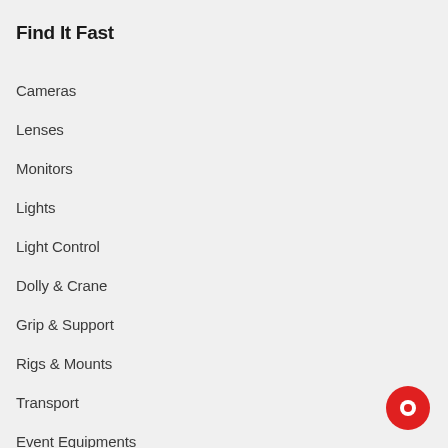Find It Fast
Cameras
Lenses
Monitors
Lights
Light Control
Dolly & Crane
Grip & Support
Rigs & Mounts
Transport
Event Equipments
[Figure (other): Red circular chat/support button icon in bottom-right corner]